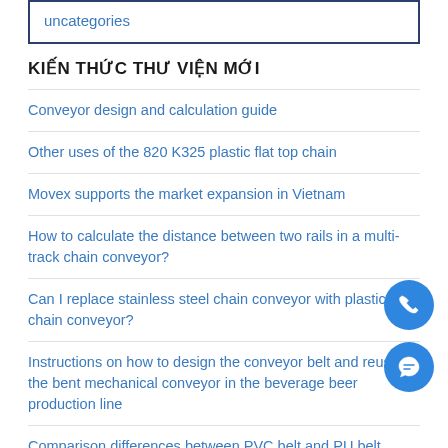uncategories
KIẾN THỨC THƯ VIỆN MỚI
Conveyor design and calculation guide
Other uses of the 820 K325 plastic flat top chain
Movex supports the market expansion in Vietnam
How to calculate the distance between two rails in a multi-track chain conveyor?
Can I replace stainless steel chain conveyor with plastic chain conveyor?
Instructions on how to design the conveyor belt and reuse the bent mechanical conveyor in the beverage beer production line
Comparison differences between PVC belt and PU belt